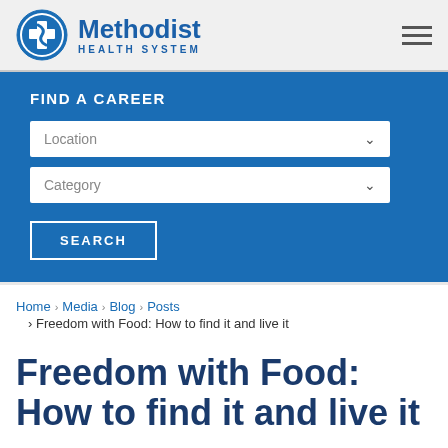[Figure (logo): Methodist Health System logo with circular blue cross emblem and text]
FIND A CAREER
Location
Category
SEARCH
Home › Media › Blog › Posts › Freedom with Food: How to find it and live it
Freedom with Food: How to find it and live it